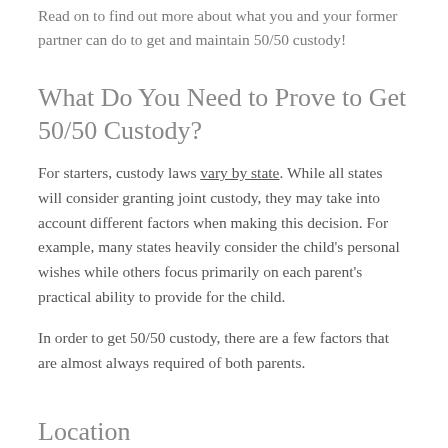Read on to find out more about what you and your former partner can do to get and maintain 50/50 custody!
What Do You Need to Prove to Get 50/50 Custody?
For starters, custody laws vary by state. While all states will consider granting joint custody, they may take into account different factors when making this decision. For example, many states heavily consider the child's personal wishes while others focus primarily on each parent's practical ability to provide for the child.
In order to get 50/50 custody, there are a few factors that are almost always required of both parents.
Location